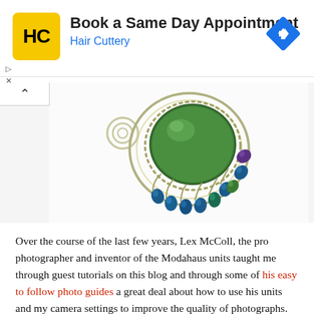[Figure (advertisement): Hair Cuttery advertisement banner: yellow square HC logo on left, 'Book a Same Day Appointment' headline in bold, 'Hair Cuttery' subtitle in blue, navigation arrow icon on right. Small play and X controls below left.]
[Figure (photo): Close-up photograph of a wire-wrapped jewelry pendant featuring a large green cabochon stone surrounded by blue and purple teardrop beads on a silver wire frame, against a white background. A back/up arrow button is visible at the upper left.]
Over the course of the last few years, Lex McColl, the pro photographer and inventor of the Modahaus units taught me through guest tutorials on this blog and through some of his easy to follow photo guides a great deal about how to use his units and my camera settings to improve the quality of photographs.  And improve I did.  Big difference, huh?